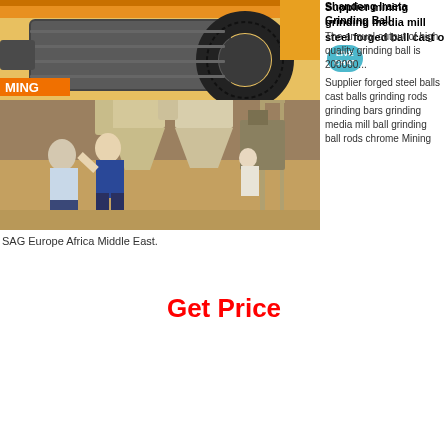[Figure (photo): Industrial grinding mill facility interior showing large conical cyclone separators/silos on metal frames, with workers standing in foreground on a dusty floor]
Supplier mining grinding media mill steel forged ball cast o... LIVE CHAT Supplier forged steel balls cast balls grinding rods grinding bars grinding media mill ball grinding ball rods chrome Mining
SAG Europe Africa Middle East.
Get Price
[Figure (photo): Close-up of large industrial ball mill showing gear ring/ring gear and mill drum in a mining facility, with orange crane overhead and 'MING' text visible on equipment]
Shandong Iraeta Grinding Ball The annual output of high quality grinding ball is 200000...